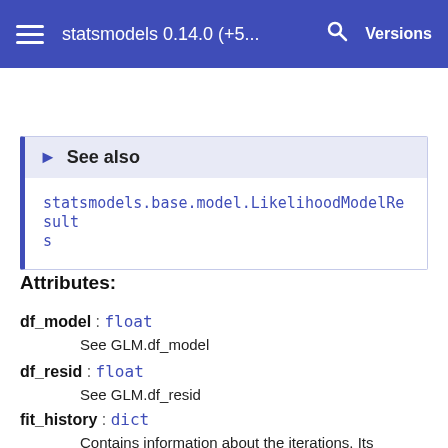statsmodels 0.14.0 (+5...   Versions
See also
statsmodels.base.model.LikelihoodModelResults
Attributes:
df_model : float
See GLM.df_model
df_resid : float
See GLM.df_resid
fit_history : dict
Contains information about the iterations. Its